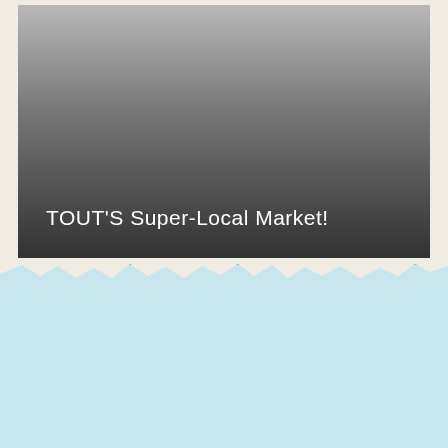[Figure (photo): A polaroid-style photograph showing a gradient from light gray at top to dark gray/charcoal at bottom, with the caption 'TOUT'S Super-Local Market!' in white text at the bottom-left of the image. The photo sits on an off-white paper background. Below the photo is a light blue background area.]